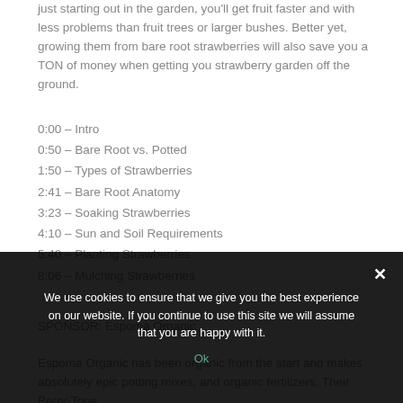just starting out in the garden, you'll get fruit faster and with less problems than fruit trees or larger bushes. Better yet, growing them from bare root strawberries will also save you a TON of money when getting you strawberry garden off the ground.
0:00 – Intro
0:50 – Bare Root vs. Potted
1:50 – Types of Strawberries
2:41 – Bare Root Anatomy
3:23 – Soaking Strawberries
4:10 – Sun and Soil Requirements
5:40 – Planting Strawberries
8:06 – Mulching Strawberries
SPONSOR: Espoma Organic
Espoma Organic has been organic from the start and makes absolutely epic potting mixes, and organic fertilizers. Their Berry-Tone
We use cookies to ensure that we give you the best experience on our website. If you continue to use this site we will assume that you are happy with it.